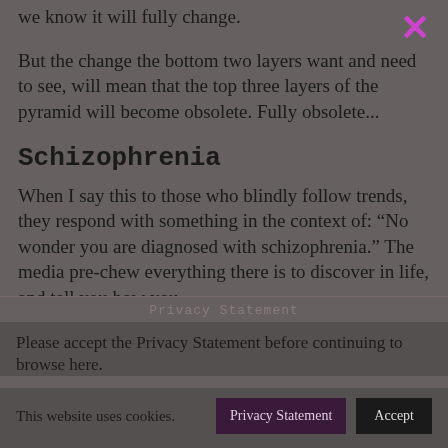we know it will fully change.
But the change the bottom two layers want and need to see, will mean that the top three layers of the pyramid will become obsolete. Fully obsolete...
Schizophrenia
When I say this to those who blindly follow trends, they respond with something in the context of: “No wonder you are diagnosed with schizophrenia.” The media pre-chew everything there is to discover in life, and tell you how you
Privacy Statement
Please accept the Privacy Statement before continuing to browse here.
This website uses cookies.
Privacy Statement
Accept